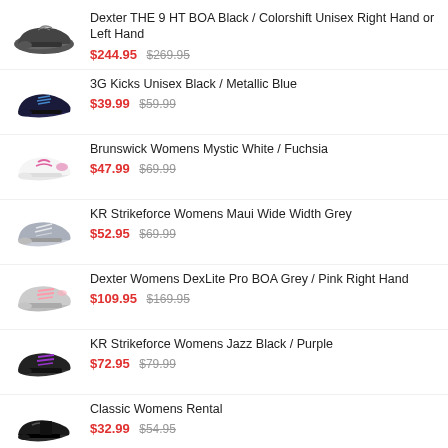Dexter THE 9 HT BOA Black / Colorshift Unisex Right Hand or Left Hand $244.95 $269.95
3G Kicks Unisex Black / Metallic Blue $39.99 $59.99
Brunswick Womens Mystic White / Fuchsia $47.99 $69.99
KR Strikeforce Womens Maui Wide Width Grey $52.95 $69.99
Dexter Womens DexLite Pro BOA Grey / Pink Right Hand $109.95 $169.95
KR Strikeforce Womens Jazz Black / Purple $72.95 $79.99
Classic Womens Rental $32.99 $54.95
Dexter Womens SST 8 Pro White / Crackle Right Hand or Left Hand $159.95 $229.99